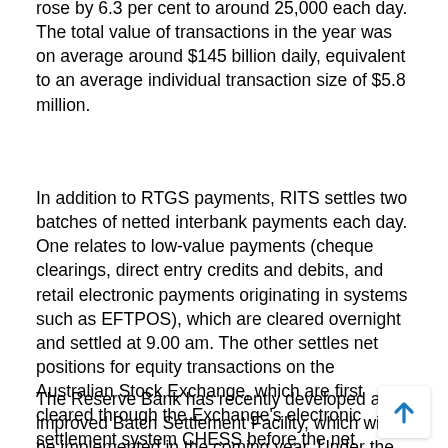rose by 6.3 per cent to around 25,000 each day. The total value of transactions in the year was on average around $145 billion daily, equivalent to an average individual transaction size of $5.8 million.
In addition to RTGS payments, RITS settles two batches of netted interbank payments each day. One relates to low-value payments (cheque clearings, direct entry credits and debits, and retail electronic payments originating in systems such as EFTPOS), which are cleared overnight and settled at 9.00 am. The other settles net positions for equity transactions on the Australian Stock Exchange, which are first cleared through the Exchange's electronic settlement system CHESS before the net payments are settled over RITS.
The Reserve Bank has recently developed an improved Batch Settlement Facility, which will be implemented in the coming year. Under the new facility,